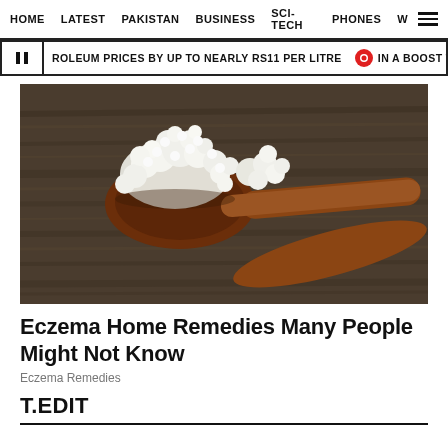HOME   LATEST   PAKISTAN   BUSINESS   SCI-TECH   PHONES   W
ROLEUM PRICES BY UP TO NEARLY RS11 PER LITRE   IN A BOOST TO DWINDLING
[Figure (photo): Photo of white kefir grains on a wooden spoon against a dark rustic wood background]
Eczema Home Remedies Many People Might Not Know
Eczema Remedies
T.EDIT